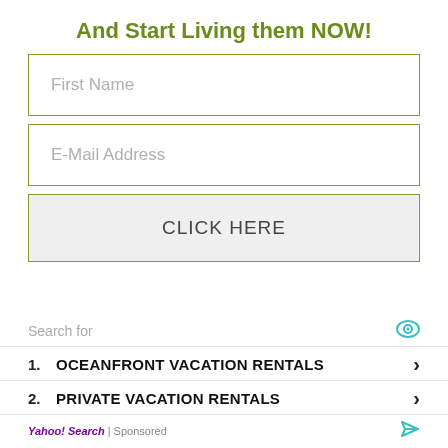And Start Living them NOW!
First Name
E-Mail Address
CLICK HERE
Search for
1. OCEANFRONT VACATION RENTALS
2. PRIVATE VACATION RENTALS
Yahoo! Search | Sponsored